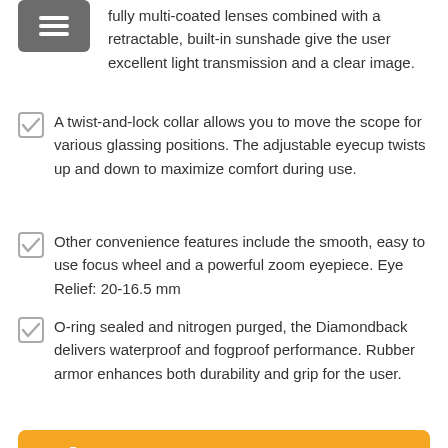fully multi-coated lenses combined with a retractable, built-in sunshade give the user excellent light transmission and a clear image.
A twist-and-lock collar allows you to move the scope for various glassing positions. The adjustable eyecup twists up and down to maximize comfort during use.
Other convenience features include the smooth, easy to use focus wheel and a powerful zoom eyepiece. Eye Relief: 20-16.5 mm
O-ring sealed and nitrogen purged, the Diamondback delivers waterproof and fogproof performance. Rubber armor enhances both durability and grip for the user.
Check Price on Amazon.com (Ad)
What You Shouldn't Do when Hunting Elk